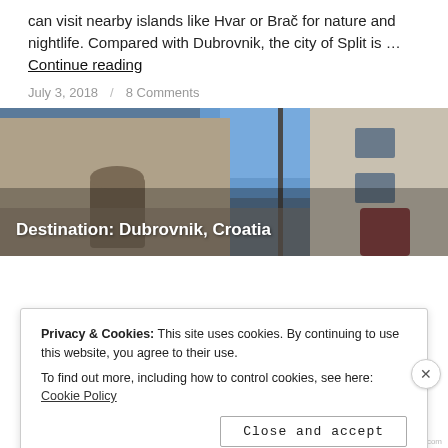can visit nearby islands like Hvar or Brač for nature and nightlife. Compared with Dubrovnik, the city of Split is … Continue reading
July 3, 2018   /   8 Comments
[Figure (photo): Street-level photo of historic stone buildings in Dubrovnik, Croatia, with blue sky visible between buildings. White overlay text reads 'Destination: Dubrovnik, Croatia'.]
Privacy & Cookies: This site uses cookies. By continuing to use this website, you agree to their use.
To find out more, including how to control cookies, see here: Cookie Policy
Close and accept